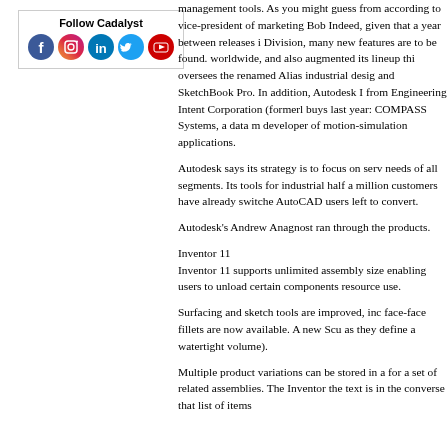[Figure (other): Follow Cadalyst social media box with Facebook, Instagram, LinkedIn, Twitter, and YouTube icons]
management tools. As you might guess from according to vice-president of marketing Bob Indeed, given that a year between releases i Division, many new features are to be found. worldwide, and also augmented its lineup thi oversees the renamed Alias industrial desig and SketchBook Pro. In addition, Autodesk I from Engineering Intent Corporation (formerl buys last year: COMPASS Systems, a data m developer of motion-simulation applications.
Autodesk says its strategy is to focus on serv needs of all segments. Its tools for industrial half a million customers have already switche AutoCAD users left to convert.
Autodesk's Andrew Anagnost ran through the products.
Inventor 11
Inventor 11 supports unlimited assembly size enabling users to unload certain components resource use.
Surfacing and sketch tools are improved, inc face-face fillets are now available. A new Scu as they define a watertight volume).
Multiple product variations can be stored in a for a set of related assemblies. The Inventor the text is in the converse that list of items